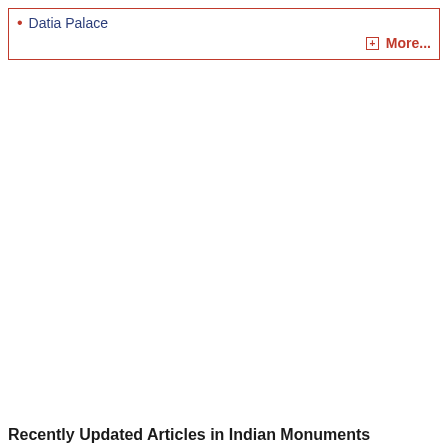Datia Palace
More...
Recently Updated Articles in Indian Monuments